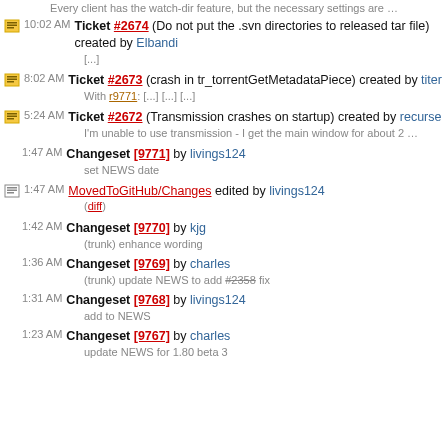Every client has the watch-dir feature, but the necessary settings are …
10:02 AM Ticket #2674 (Do not put the .svn directories to released tar file) created by Elbandi
[...]
8:02 AM Ticket #2673 (crash in tr_torrentGetMetadataPiece) created by titer
With r9771: [...] [...] [...]
5:24 AM Ticket #2672 (Transmission crashes on startup) created by recurse
I'm unable to use transmission - I get the main window for about 2 …
1:47 AM Changeset [9771] by livings124
set NEWS date
1:47 AM MovedToGitHub/Changes edited by livings124
(diff)
1:42 AM Changeset [9770] by kjg
(trunk) enhance wording
1:36 AM Changeset [9769] by charles
(trunk) update NEWS to add #2358 fix
1:31 AM Changeset [9768] by livings124
add to NEWS
1:23 AM Changeset [9767] by charles
update NEWS for 1.80 beta 3